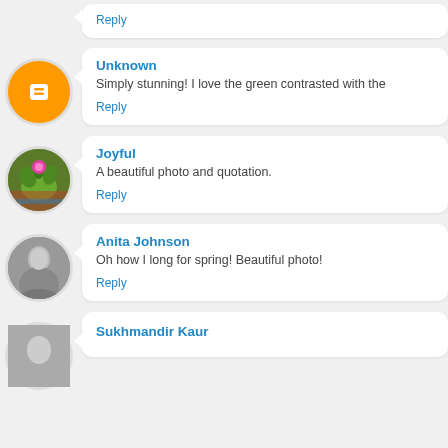Reply
Unknown
Simply stunning! I love the green contrasted with the
Reply
Joyful
A beautiful photo and quotation.
Reply
Anita Johnson
Oh how I long for spring! Beautiful photo!
Reply
Sukhmandir Kaur